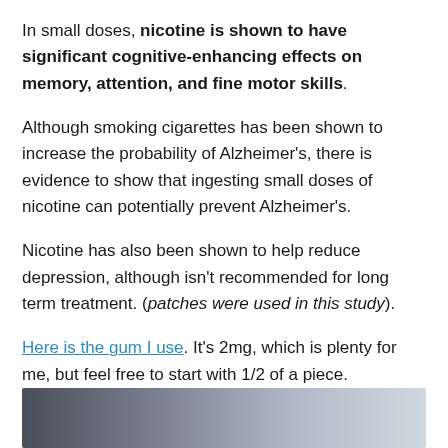In small doses, nicotine is shown to have significant cognitive-enhancing effects on memory, attention, and fine motor skills.
Although smoking cigarettes has been shown to increase the probability of Alzheimer's, there is evidence to show that ingesting small doses of nicotine can potentially prevent Alzheimer's.
Nicotine has also been shown to help reduce depression, although isn't recommended for long term treatment. (patches were used in this study).
Here is the gum I use. It's 2mg, which is plenty for me, but feel free to start with 1/2 of a piece.
[Figure (photo): Partial photo strip at bottom of page showing a dark to light gradient image, likely a product or background photo.]